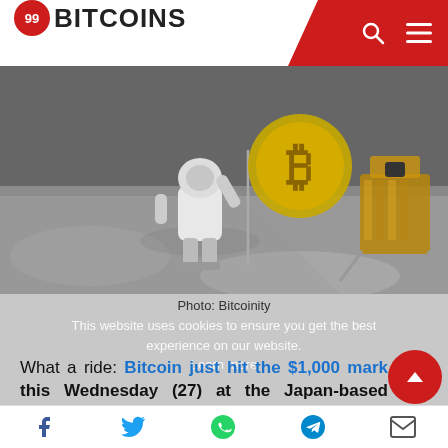99BITCOINS
[Figure (photo): Astronaut on the moon surface holding a pole with a Bitcoin logo flag, lunar lander visible in the background. Black and white photo with Bitcoin gold coin overlay.]
Photo: Bitcoinity
This website uses cookies to ensure you get the best experience on our website. Learn more
What a ride: Bitcoin just hit the $1,000 mark this Wednesday (27) at the Japan-based exchange Mt. Gox. The currency's balance between supply and demand keeps going strong and making the
Accept